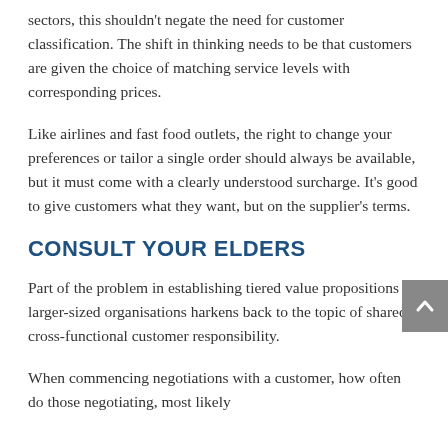sectors, this shouldn't negate the need for customer classification. The shift in thinking needs to be that customers are given the choice of matching service levels with corresponding prices.
Like airlines and fast food outlets, the right to change your preferences or tailor a single order should always be available, but it must come with a clearly understood surcharge. It's good to give customers what they want, but on the supplier's terms.
CONSULT YOUR ELDERS
Part of the problem in establishing tiered value propositions in larger-sized organisations harkens back to the topic of shared cross-functional customer responsibility.
When commencing negotiations with a customer, how often do those negotiating, most likely